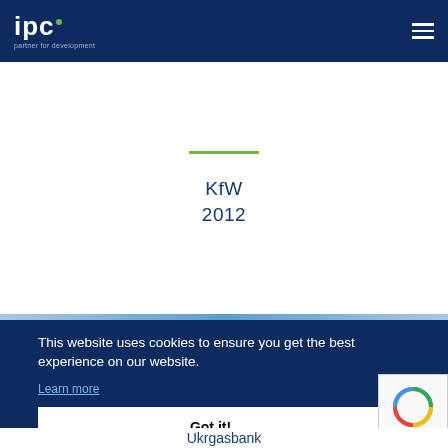ipc partner for development
[Figure (logo): IPC logo with green dot and tagline 'partner for development' on dark blue header bar]
KfW
2012
This website uses cookies to ensure you get the best experience on our website.
Learn more
Got it!
Ukrgasbank